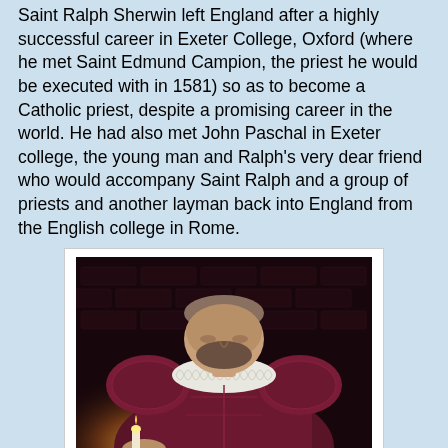Saint Ralph Sherwin left England after a highly successful career in Exeter College, Oxford (where he met Saint Edmund Campion, the priest he would be executed with in 1581) so as to become a Catholic priest, despite a promising career in the world. He had also met John Paschal in Exeter college, the young man and Ralph's very dear friend who would accompany Saint Ralph and a group of priests and another layman back into England from the English college in Rome.
[Figure (photo): A man dressed in period Elizabethan costume with a ruffled collar and dark red/maroon doublet, bowing his head in prayer near a candle, against a brick wall background. Represents Saint Ralph Sherwin at prayer.]
Saint Ralph Sherwin at prayer
Saint Ralph was raised a Protestant but converted during his Oxford days. His uncle was a Marian priest loyal to the Catholic Faith. Saint Ralph was deeply devout and very